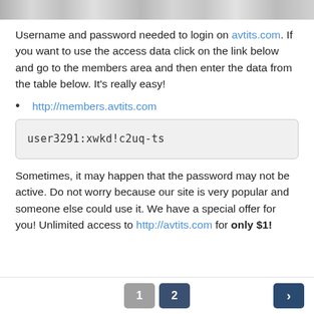[Figure (photo): Top image strip showing partial photos of people]
Username and password needed to login on avtits.com. If you want to use the access data click on the link below and go to the members area and then enter the data from the table below. It's really easy!
http://members.avtits.com
user3291:xwkd!c2uq-ts
Sometimes, it may happen that the password may not be active. Do not worry because our site is very popular and someone else could use it. We have a special offer for you! Unlimited access to http://avtits.com for only $1!